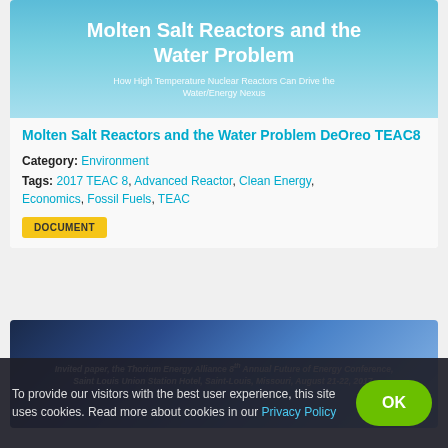[Figure (illustration): Book/document cover with light blue gradient background. Large bold white text: 'Molten Salt Reactors and the Water Problem'. Subtitle in smaller white text: 'How High Temperature Nuclear Reactors Can Drive the Water/Energy Nexus'.]
Molten Salt Reactors and the Water Problem DeOreo TEAC8
Category: Environment
Tags: 2017 TEAC 8, Advanced Reactor, Clean Energy, Economics, Fossil Fuels, TEAC
DOCUMENT
[Figure (illustration): Dark blue gradient background with white italic bold text: 'Invited paper, the Thorium Energy Alliance 8th Annual Future of Energy Conference, Saint Louis Union Station Hotel, Saint-Louis, Missouri, August 21-22, 2017.']
To provide our visitors with the best user experience, this site uses cookies. Read more about cookies in our Privacy Policy